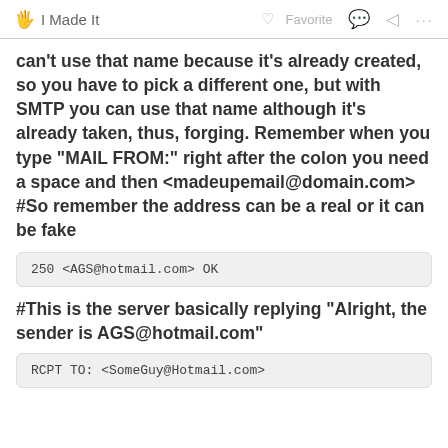🖐 I Made It   ♡ Favorite   💬   ⬡   ···
can't use that name because it's already created, so you have to pick a different one, but with SMTP you can use that name although it's already taken, thus, forging. Remember when you type "MAIL FROM:" right after the colon you need a space and then <madeupemail@domain.com> #So remember the address can be a real or it can be fake
250 <AGS@hotmail.com> OK
#This is the server basically replying "Alright, the sender is AGS@hotmail.com"
RCPT TO: <SomeGuy@Hotmail.com>